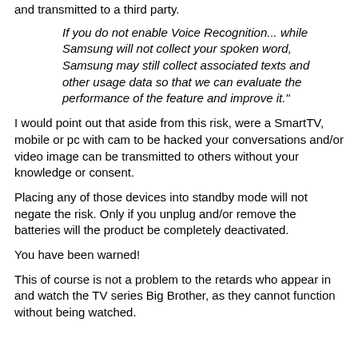and transmitted to a third party.
If you do not enable Voice Recognition... while Samsung will not collect your spoken word, Samsung may still collect associated texts and other usage data so that we can evaluate the performance of the feature and improve it."
I would point out that aside from this risk, were a SmartTV, mobile or pc with cam to be hacked your conversations and/or video image can be transmitted to others without your knowledge or consent.
Placing any of those devices into standby mode will not negate the risk. Only if you unplug and/or remove the batteries will the product be completely deactivated.
You have been warned!
This of course is not a problem to the retards who appear in and watch the TV series Big Brother, as they cannot function without being watched.